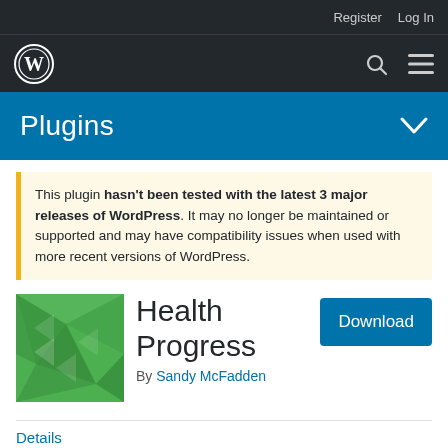Register   Log In
[Figure (logo): WordPress logo in top navigation bar with search and menu icons]
Plugins
This plugin hasn't been tested with the latest 3 major releases of WordPress. It may no longer be maintained or supported and may have compatibility issues when used with more recent versions of WordPress.
[Figure (illustration): Green geometric low-poly plugin icon for Health Progress]
Health Progress
By Sandy McFadden
Download
Details